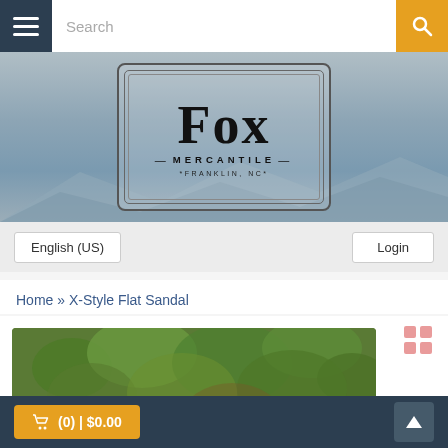Search
[Figure (logo): Fox Mercantile logo with decorative frame, Franklin, NC]
English (US)    Login
Home » X-Style Flat Sandal
[Figure (photo): Close-up photo of a woman's foot wearing a tan X-style flat sandal against a green leafy background]
(0) | $0.00